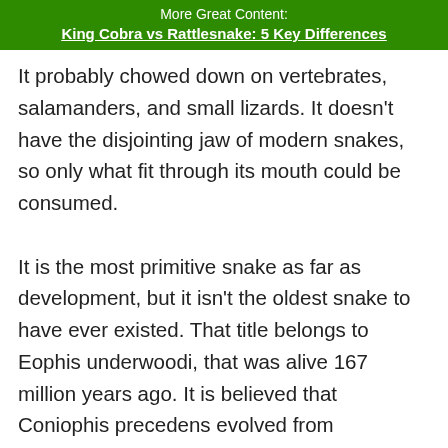More Great Content:
King Cobra vs Rattlesnake: 5 Key Differences
It probably chowed down on vertebrates, salamanders, and small lizards. It doesn't have the disjointing jaw of modern snakes, so only what fit through its mouth could be consumed.

It is the most primitive snake as far as development, but it isn't the oldest snake to have ever existed. That title belongs to Eophis underwoodi, that was alive 167 million years ago. It is believed that Coniophis precedens evolved from burrowing lizards.